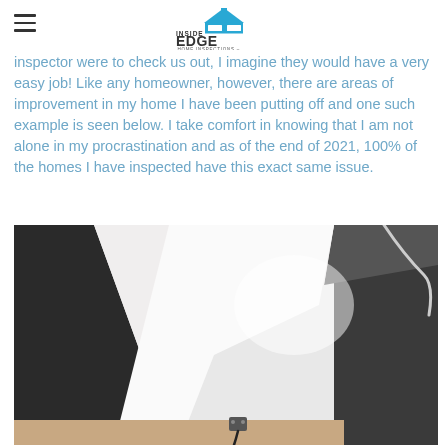Inside Edge Home Inspections logo
inspector were to check us out, I imagine they would have a very easy job! Like any homeowner, however, there are areas of improvement in my home I have been putting off and one such example is seen below. I take comfort in knowing that I am not alone in my procrastination and as of the end of 2021, 100% of the homes I have inspected have this exact same issue.
[Figure (photo): Interior photo showing a corner of a room with white walls, dark countertop or surface visible on the right side, wood floor visible at the bottom, and an electrical outlet near the baseboard.]